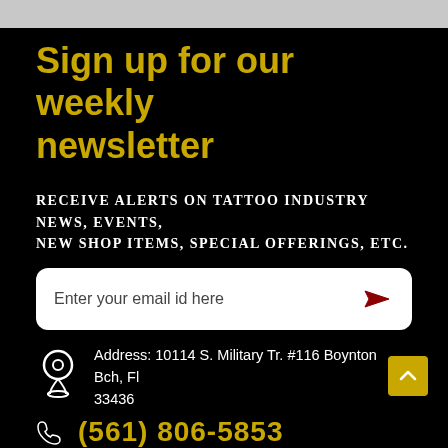Sign up for our weekly newsletter
RECEIVE ALERTS ON TATTOO INDUSTRY NEWS, EVENTS, NEW SHOP ITEMS, SPECIAL OFFERINGS, ETC.
Enter your email id here
Address: 10114 S. Military Tr. #116 Boynton Bch, Fl 33436
(561) 806-5853